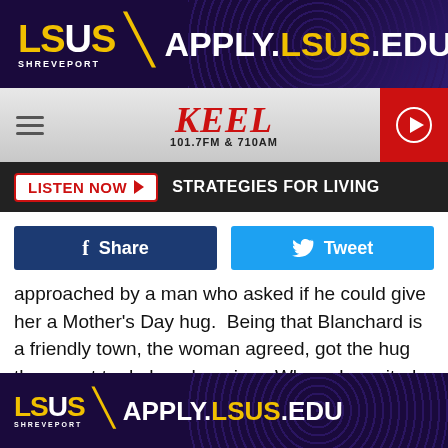[Figure (other): LSUS Shreveport advertisement banner with text APPLY.LSUS.EDU on dark purple dotted background]
[Figure (other): KEEL 101.7FM & 710AM radio station navigation bar with hamburger menu and play button]
[Figure (other): LISTEN NOW button with STRATEGIES FOR LIVING text on dark bar]
[Figure (other): Facebook Share button and Twitter Tweet button]
approached by a man who asked if he could give her a Mother's Day hug.  Being that Blanchard is a friendly town, the woman agreed, got the hug then went to do her shopping.  When she exited the store a while later, the man came up to her again and began to harass her with profane language.  He then suddenly grabbed her and forced a kiss upon her.  Needless to say, the man's intentions were not nice from the
[Figure (other): LSUS Shreveport bottom advertisement banner with text APPLY.LSUS.EDU]